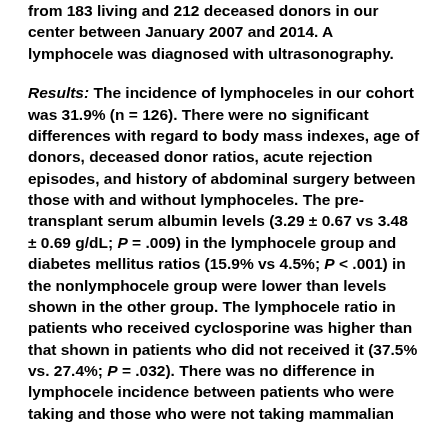from 183 living and 212 deceased donors in our center between January 2007 and 2014. A lymphocele was diagnosed with ultrasonography.
Results: The incidence of lymphoceles in our cohort was 31.9% (n = 126). There were no significant differences with regard to body mass indexes, age of donors, deceased donor ratios, acute rejection episodes, and history of abdominal surgery between those with and without lymphoceles. The pre-transplant serum albumin levels (3.29 ± 0.67 vs 3.48 ± 0.69 g/dL; P = .009) in the lymphocele group and diabetes mellitus ratios (15.9% vs 4.5%; P < .001) in the nonlymphocele group were lower than levels shown in the other group. The lymphocele ratio in patients who received cyclosporine was higher than that shown in patients who did not received it (37.5% vs. 27.4%; P = .032). There was no difference in lymphocele incidence between patients who were taking and those who were not taking mammalian